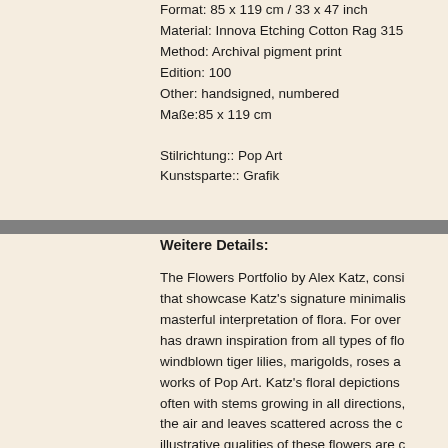Format: 85 x 119 cm / 33 x 47 inch
Material: Innova Etching Cotton Rag 315
Method: Archival pigment print
Edition: 100
Other: handsigned, numbered
Maße:85 x 119 cm

Stilrichtung:: Pop Art
Kunstsparte:: Grafik
Weitere Details:
The Flowers Portfolio by Alex Katz, consi that showcase Katz's signature minimalis masterful interpretation of flora. For over has drawn inspiration from all types of flo windblown tiger lilies, marigolds, roses a works of Pop Art. Katz's floral depictions often with stems growing in all directions, the air and leaves scattered across the c illustrative qualities of these flowers are c edged definitions and minimal modelling artist's subtractive methodology allows hi